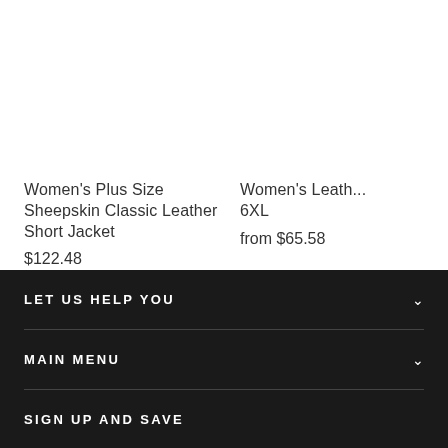Women's Plus Size Sheepskin Classic Leather Short Jacket
$122.48
Women's Leath... 6XL
from $65.58
LET US HELP YOU
MAIN MENU
SIGN UP AND SAVE